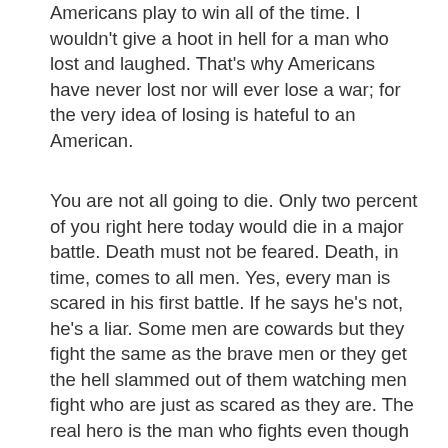Americans play to win all of the time. I wouldn't give a hoot in hell for a man who lost and laughed. That's why Americans have never lost nor will ever lose a war; for the very idea of losing is hateful to an American.
You are not all going to die. Only two percent of you right here today would die in a major battle. Death must not be feared. Death, in time, comes to all men. Yes, every man is scared in his first battle. If he says he's not, he's a liar. Some men are cowards but they fight the same as the brave men or they get the hell slammed out of them watching men fight who are just as scared as they are. The real hero is the man who fights even though he is scared. Some men get over their fright in a minute under fire. For some, it takes an hour. For some, it takes days. But a real man will never let his fear of death overpower his honor, his sense of duty to his country, and his innate manhood.